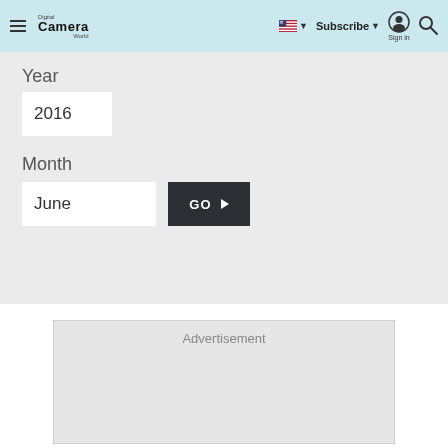Digital Camera World — Subscribe | Sign in | Search
Year
2016
Month
June
GO ▶
Advertisement